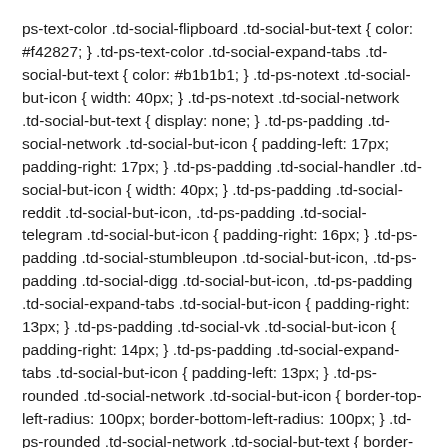ps-text-color .td-social-flipboard .td-social-but-text { color: #f42827; } .td-ps-text-color .td-social-expand-tabs .td-social-but-text { color: #b1b1b1; } .td-ps-notext .td-social-but-icon { width: 40px; } .td-ps-notext .td-social-network .td-social-but-text { display: none; } .td-ps-padding .td-social-network .td-social-but-icon { padding-left: 17px; padding-right: 17px; } .td-ps-padding .td-social-handler .td-social-but-icon { width: 40px; } .td-ps-padding .td-social-reddit .td-social-but-icon, .td-ps-padding .td-social-telegram .td-social-but-icon { padding-right: 16px; } .td-ps-padding .td-social-stumbleupon .td-social-but-icon, .td-ps-padding .td-social-digg .td-social-but-icon, .td-ps-padding .td-social-expand-tabs .td-social-but-icon { padding-right: 13px; } .td-ps-padding .td-social-vk .td-social-but-icon { padding-right: 14px; } .td-ps-padding .td-social-expand-tabs .td-social-but-icon { padding-left: 13px; } .td-ps-rounded .td-social-network .td-social-but-icon { border-top-left-radius: 100px; border-bottom-left-radius: 100px; } .td-ps-rounded .td-social-network .td-social-but-text { border-top-right-radius: 100px;